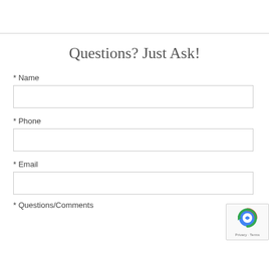Questions? Just Ask!
* Name
* Phone
* Email
* Questions/Comments